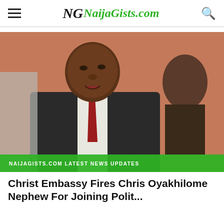NaijaGists.com
[Figure (photo): Close-up photo of a young Black man in a dark suit with a red tie, looking downward, with other people blurred in the background. A green banner overlay reads 'NAIJAGISTS.COM LATEST NEWS UPDATES'.]
Christ Embassy Fires Chris Oyakhilome Nephew For Joining Polit...